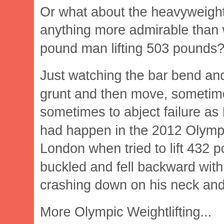Or what about the heavyweights? Is there anything more admirable than watching a 220-pound man lifting 503 pounds?
Just watching the bar bend and the weightlifter grunt and then move, sometimes to great heights, sometimes to abject failure as Matthias Steiner had happen in the 2012 Olympic games in London when tried to lift 432 pounds and his legs buckled and fell backward with the weight coming crashing down on his neck and his head.
More Olympic Weightlifting...